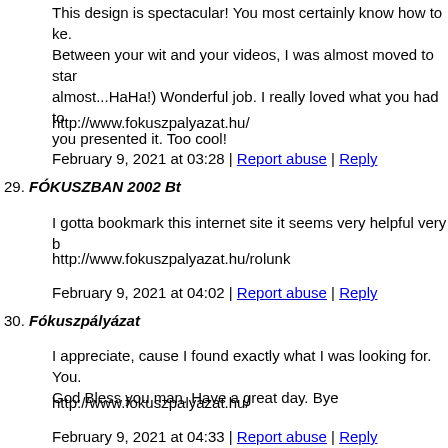This design is spectacular! You most certainly know how to ke. Between your wit and your videos, I was almost moved to star almost...HaHa!) Wonderful job. I really loved what you had to you presented it. Too cool!
http://www.fokuszpalyazat.hu/
February 9, 2021 at 03:28 | Report abuse | Reply
29. FÓKUSZBAN 2002 Bt
I gotta bookmark this internet site it seems very helpful very b
http://www.fokuszpalyazat.hu/rolunk
February 9, 2021 at 04:02 | Report abuse | Reply
30. Fókuszpályázat
I appreciate, cause I found exactly what I was looking for. You. God Bless you man. Have a great day. Bye
http://www.fokuszpalyazat.hu/
February 9, 2021 at 04:33 | Report abuse | Reply
31. car insurance burlington ontario
I've been exploring for a little bit for